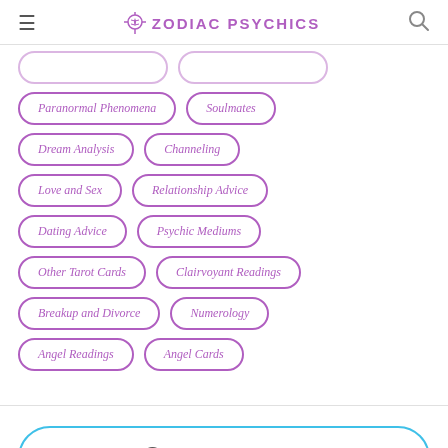Zodiac Psychics
Paranormal Phenomena
Soulmates
Dream Analysis
Channeling
Love and Sex
Relationship Advice
Dating Advice
Psychic Mediums
Other Tarot Cards
Clairvoyant Readings
Breakup and Divorce
Numerology
Angel Readings
Angel Cards
Private Message